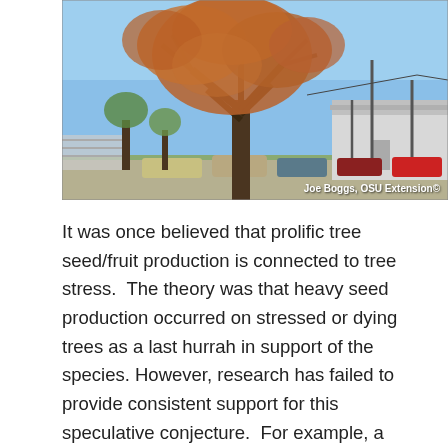[Figure (photo): Outdoor photograph of a large tree with reddish-brown foliage in a parking lot setting, with cars, a white building, and utility poles visible in the background under a blue sky. Credit: Joe Boggs, OSU Extension©]
It was once believed that prolific tree seed/fruit production is connected to tree stress.  The theory was that heavy seed production occurred on stressed or dying trees as a last hurrah in support of the species.  However, research has failed to provide consistent support for this speculative conjecture.  For example, a study published in 2017 in the Canadian Journal of Forest Research found no evidence that stress associated with drought over previous seasons influenced seed